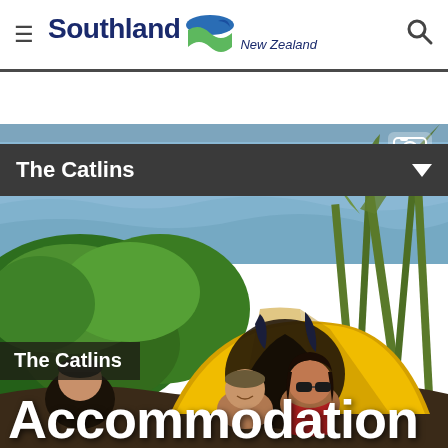Southland New Zealand — navigation header with hamburger menu and search icon
The Catlins
[Figure (photo): Outdoor camping scene near water. A yellow dome tent is open with two young women (one wearing sunglasses and a cap, one with dark hair) sitting inside or in front of it. Green shrubs and tall flax plants are visible. A body of water is in the background. A camera icon overlay appears in the top right of the photo.]
The Catlins
Accommodation